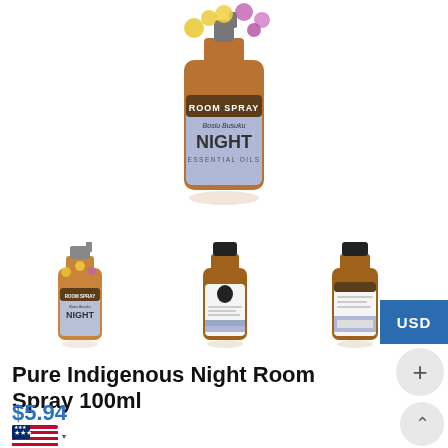[Figure (photo): Main product image: Room Spray amber/blue bottle with 'ROOM SPRAY Bosiu Busuku NIGHT ESSENTIAL OILS' label and flowers on top]
[Figure (photo): Thumbnail 1: Front view of Night Room Spray 100ml bottle with grey cap]
[Figure (photo): Thumbnail 2: Amber bottle with black dropper cap, back label visible]
[Figure (photo): Thumbnail 3: Amber bottle with black dropper cap, side label visible]
USD
Pure Indigenous Night Room Spray 100ml
$5.94
[Figure (infographic): US flag icon with dropdown arrow for currency/country selector]